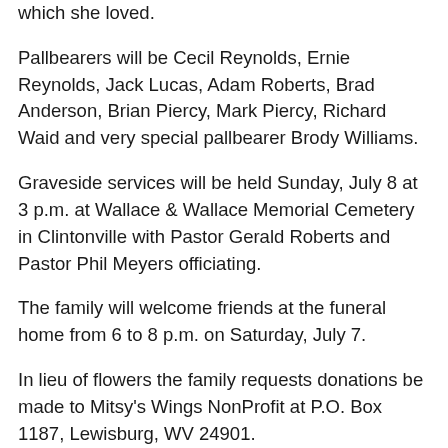which she loved.
Pallbearers will be Cecil Reynolds, Ernie Reynolds, Jack Lucas, Adam Roberts, Brad Anderson, Brian Piercy, Mark Piercy, Richard Waid and very special pallbearer Brody Williams.
Graveside services will be held Sunday, July 8 at 3 p.m. at Wallace & Wallace Memorial Cemetery in Clintonville with Pastor Gerald Roberts and Pastor Phil Meyers officiating.
The family will welcome friends at the funeral home from 6 to 8 p.m. on Saturday, July 7.
In lieu of flowers the family requests donations be made to Mitsy's Wings NonProfit at P.O. Box 1187, Lewisburg, WV 24901.
Wallace & Wallace Funeral Home in Lewisburg is in charge of arrangements.